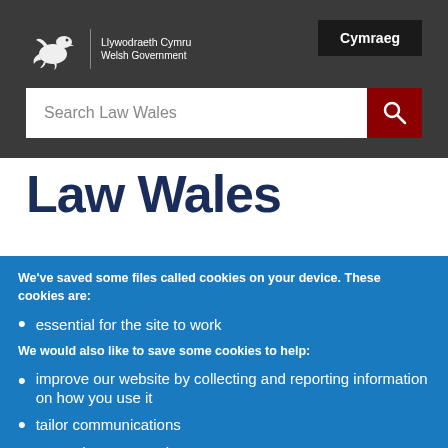Llywodraeth Cymru Welsh Government | Cymraeg
Search Law Wales
Law Wales
We've saved some files called cookies on your device. These cookies are:
essential for the site to work
We would also like to save some cookies to help:
improve our website by collecting and reporting information on how you use it
tailor communications
remember your settings
Change cookies settings